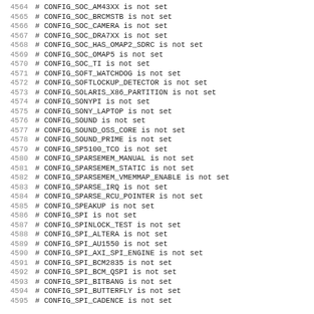4564 # CONFIG_SOC_AM43XX is not set
4565 # CONFIG_SOC_BRCMSTB is not set
4566 # CONFIG_SOC_CAMERA is not set
4567 # CONFIG_SOC_DRA7XX is not set
4568 # CONFIG_SOC_HAS_OMAP2_SDRC is not set
4569 # CONFIG_SOC_OMAP5 is not set
4570 # CONFIG_SOC_TI is not set
4571 # CONFIG_SOFT_WATCHDOG is not set
4572 # CONFIG_SOFTLOCKUP_DETECTOR is not set
4573 # CONFIG_SOLARIS_X86_PARTITION is not set
4574 # CONFIG_SONYPI is not set
4575 # CONFIG_SONY_LAPTOP is not set
4576 # CONFIG_SOUND is not set
4577 # CONFIG_SOUND_OSS_CORE is not set
4578 # CONFIG_SOUND_PRIME is not set
4579 # CONFIG_SP5100_TCO is not set
4580 # CONFIG_SPARSEMEM_MANUAL is not set
4581 # CONFIG_SPARSEMEM_STATIC is not set
4582 # CONFIG_SPARSEMEM_VMEMMAP_ENABLE is not set
4583 # CONFIG_SPARSE_IRQ is not set
4584 # CONFIG_SPARSE_RCU_POINTER is not set
4585 # CONFIG_SPEAKUP is not set
4586 # CONFIG_SPI is not set
4587 # CONFIG_SPINLOCK_TEST is not set
4588 # CONFIG_SPI_ALTERA is not set
4589 # CONFIG_SPI_AU1550 is not set
4590 # CONFIG_SPI_AXI_SPI_ENGINE is not set
4591 # CONFIG_SPI_BCM2835 is not set
4592 # CONFIG_SPI_BCM_QSPI is not set
4593 # CONFIG_SPI_BITBANG is not set
4594 # CONFIG_SPI_BUTTERFLY is not set
4595 # CONFIG_SPI_CADENCE is not set